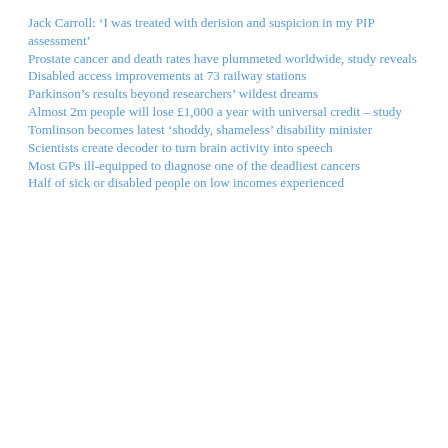Jack Carroll: ‘I was treated with derision and suspicion in my PIP assessment’
Prostate cancer and death rates have plummeted worldwide, study reveals
Disabled access improvements at 73 railway stations
Parkinson’s results beyond researchers’ wildest dreams
Almost 2m people will lose £1,000 a year with universal credit – study
Tomlinson becomes latest ‘shoddy, shameless’ disability minister
Scientists create decoder to turn brain activity into speech
Most GPs ill-equipped to diagnose one of the deadliest cancers
Half of sick or disabled people on low incomes experienced